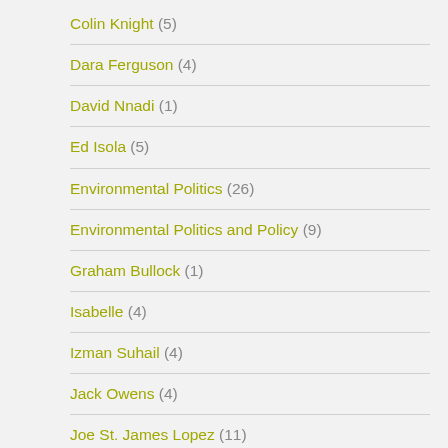Colin Knight (5)
Dara Ferguson (4)
David Nnadi (1)
Ed Isola (5)
Environmental Politics (26)
Environmental Politics and Policy (9)
Graham Bullock (1)
Isabelle (4)
Izman Suhail (4)
Jack Owens (4)
Joe St. James Lopez (11)
Justin Garcia-Bunuel (4)
Kacey Marlini (5)